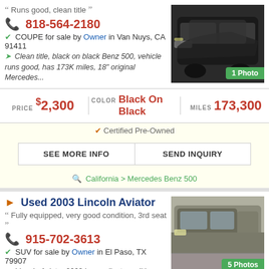Runs good, clean title
818-564-2180
COUPE for sale by Owner in Van Nuys, CA 91411
Clean title, black on black Benz 500, vehicle runs good, has 173K miles, 18" original Mercedes...
[Figure (photo): Black Mercedes Benz coupe, front view]
| PRICE | COLOR | MILES |
| --- | --- | --- |
| $2,300 | Black On Black | 173,300 |
Certified Pre-Owned
SEE MORE INFO | SEND INQUIRY
California > Mercedes Benz 500
Used 2003 Lincoln Aviator
Fully equipped, very good condition, 3rd seat
915-702-3613
SUV for sale by Owner in El Paso, TX 79907
Lincoln Aviator 2003 in excellent condition. Roof rails, fog lights, running boards, tinted...
[Figure (photo): Gray Lincoln Aviator SUV, front/side view in parking lot]
| PRICE | COLOR | MILES |
| --- | --- | --- |
| $2,300 | Arena | Please Call |